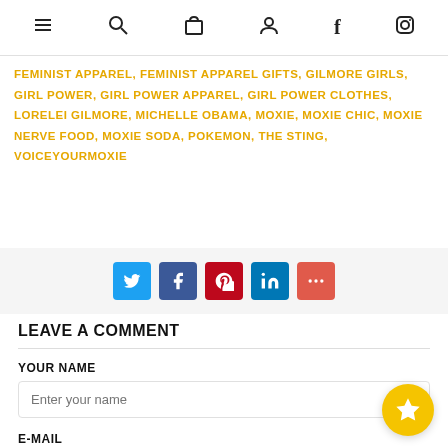Navigation bar with menu, search, cart, account, Facebook and Instagram icons
FEMINIST APPAREL, FEMINIST APPAREL GIFTS, GILMORE GIRLS, GIRL POWER, GIRL POWER APPAREL, GIRL POWER CLOTHES, LORELEI GILMORE, MICHELLE OBAMA, MOXIE, MOXIE CHIC, MOXIE NERVE FOOD, MOXIE SODA, POKEMON, THE STING, VOICEYOURMOXIE
[Figure (infographic): Social share buttons: Twitter (blue), Facebook (dark blue), Pinterest (red), LinkedIn (blue), More (orange-red)]
LEAVE A COMMENT
YOUR NAME
Enter your name
E-MAIL